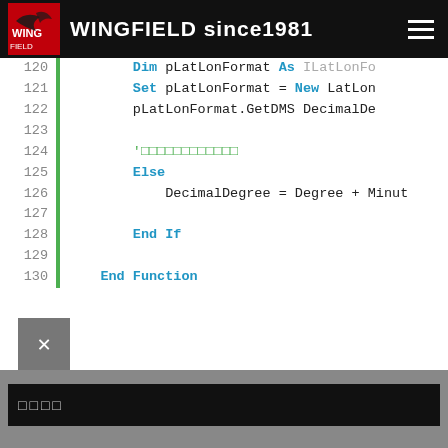WINGFIELD since1981
[Figure (screenshot): Code editor showing VBA/Visual Basic code lines 120-130 with line numbers and green sidebar bar. Code includes Dim pLatLonFormat As ILatLonFormat, Set pLatLonFormat = New LatLon, pLatLonFormat.GetDMS DecimalDe, a comment line with Japanese characters, Else, DecimalDegree = Degree + Minut, End If, End Function.]
□□□□
□□□□□□□□□□□□